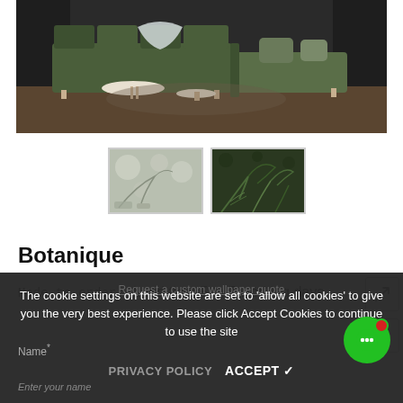[Figure (photo): Green velvet L-shaped sofa with throw blanket and round coffee tables in a modern living room setting]
[Figure (photo): Thumbnail 1: botanical wallpaper with bokeh lights and fern leaves]
[Figure (photo): Thumbnail 2: dark green botanical fern leaf pattern]
Botanique
Made to order:    Lead time 5 to 7 working days
The cookie settings on this website are set to 'allow all cookies' to give you the very best experience. Please click Accept Cookies to continue to use the site
PRIVACY POLICY   ACCEPT ✓